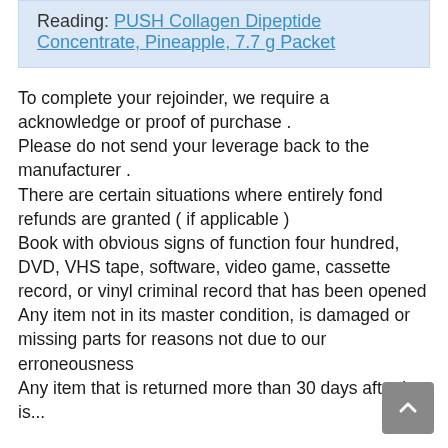Reading: PUSH Collagen Dipeptide Concentrate, Pineapple, 7.7 g Packet
To complete your rejoinder, we require a acknowledge or proof of purchase . Please do not send your leverage back to the manufacturer . There are certain situations where entirely fond refunds are granted ( if applicable ) Book with obvious signs of function four hundred, DVD, VHS tape, software, video game, cassette record, or vinyl criminal record that has been opened Any item not in its master condition, is damaged or missing parts for reasons not due to our erroneousness Any item that is returned more than 30 days after it is...